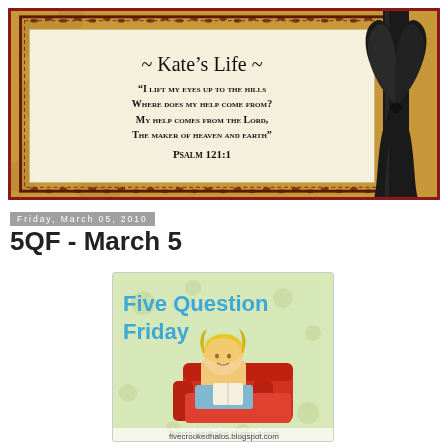[Figure (illustration): Blog header banner for 'Kate's Life' with golden/tan damask background, decorative dark red border, cream paper scroll in center with blog title '~ Kate's Life ~' and Bible verse (Psalm 121:1), and a black satin ribbon with bow on the right side.]
~ Kate's Life ~
“I lift my eyes up to the hills Where does my help come from? My help comes from the Lord, The maker of heaven and earth” Psalm 121:1
Friday, March 05, 2010
5QF - March 5
[Figure (illustration): Five Question Friday badge/logo image showing a cartoon blonde woman sitting in a red armchair reading, on a green background, with the text 'Five Question Friday' in blue and the URL 'fivecrookedhalos.blogspot.com' at the bottom.]